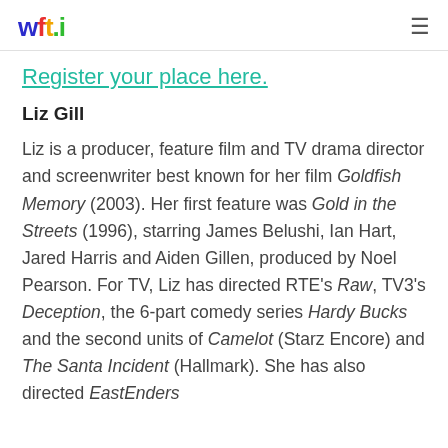wft.i
Register your place here.
Liz Gill
Liz is a producer, feature film and TV drama director and screenwriter best known for her film Goldfish Memory (2003). Her first feature was Gold in the Streets (1996), starring James Belushi, Ian Hart, Jared Harris and Aiden Gillen, produced by Noel Pearson. For TV, Liz has directed RTE's Raw, TV3's Deception, the 6-part comedy series Hardy Bucks and the second units of Camelot (Starz Encore) and The Santa Incident (Hallmark). She has also directed EastEnders